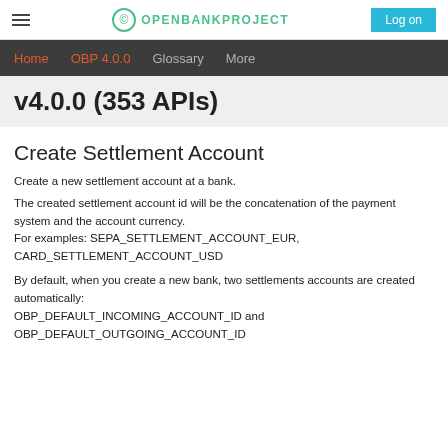OPENBANKPROJECT | Log on
Home  OBP 4.0.0  Glossary  More
v4.0.0 (353 APIs)
Create Settlement Account
Create a new settlement account at a bank.
The created settlement account id will be the concatenation of the payment system and the account currency.
For examples: SEPA_SETTLEMENT_ACCOUNT_EUR,
CARD_SETTLEMENT_ACCOUNT_USD
By default, when you create a new bank, two settlements accounts are created automatically:
OBP_DEFAULT_INCOMING_ACCOUNT_ID and
OBP_DEFAULT_OUTGOING_ACCOUNT_ID